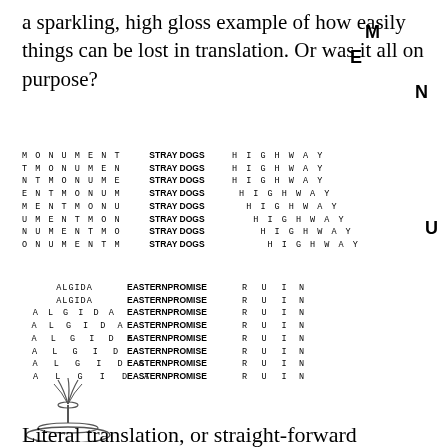a sparkling, high gloss example of how easily things can be lost in translation. Or was it all on purpose?
[Figure (illustration): Word repetition grid layout showing MONUMENT, STRAY DOGS, HIGHWAY cycling through letter-shifted rows; then ALGIDA, EASTERNPROMISE, RUIN rows with a fountain illustration growing at the left side]
Literal translation, or straight-forward